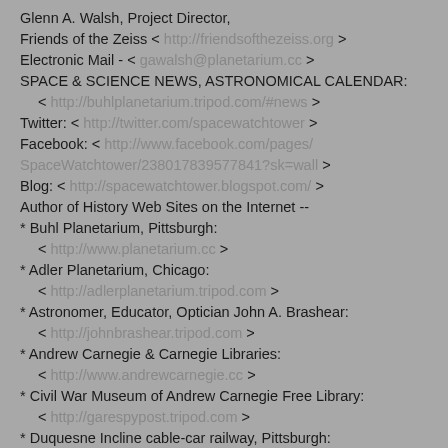Glenn A. Walsh, Project Director,
Friends of the Zeiss < http://friendsofthezeiss.org >
Electronic Mail - < gawalsh@planetarium.cc >
SPACE & SCIENCE NEWS, ASTRONOMICAL CALENDAR:
  < http://buhlplanetarium.tripod.com/#news >
Twitter: < http://twitter.com/spacewatchtower >
Facebook: < http://www.facebook.com/pages/SpaceWatchtower/238017839577841?sk=wall >
Blog: < http://spacewatchtower.blogspot.com/ >
Author of History Web Sites on the Internet --
* Buhl Planetarium, Pittsburgh:
  < http://www.planetarium.cc >
* Adler Planetarium, Chicago:
  < http://adlerplanetarium.tripod.com >
* Astronomer, Educator, Optician John A. Brashear:
  < http://johnbrashear.tripod.com >
* Andrew Carnegie & Carnegie Libraries:
  < http://www.andrewcarnegie.cc >
* Civil War Museum of Andrew Carnegie Free Library:
  < http://garespypost.tripod.com >
* Duquesne Incline cable-car railway, Pittsburgh:
  < http://inclinedplane.tripod.com >